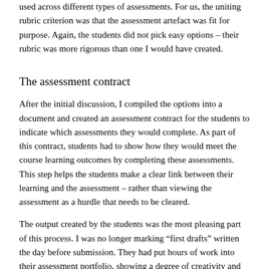used across different types of assessments. For us, the uniting rubric criterion was that the assessment artefact was fit for purpose. Again, the students did not pick easy options – their rubric was more rigorous than one I would have created.
The assessment contract
After the initial discussion, I compiled the options into a document and created an assessment contract for the students to indicate which assessments they would complete. As part of this contract, students had to show how they would meet the course learning outcomes by completing these assessments. This step helps the students make a clear link between their learning and the assessment – rather than viewing the assessment as a hurdle that needs to be cleared.
The output created by the students was the most pleasing part of this process. I was no longer marking “first drafts” written the day before submission. They had put hours of work into their assessment portfolio, showing a degree of creativity and initiative I had not seen before.